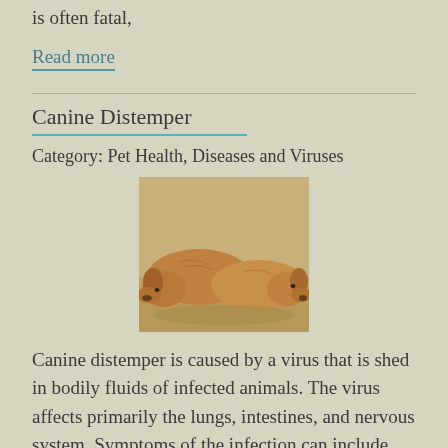is often fatal,
Read more
Canine Distemper
Category: Pet Health, Diseases and Viruses
[Figure (photo): Two brown/tan dogs lying side by side on sandy ground, heads resting down, appearing ill or lethargic]
Canine distemper is caused by a virus that is shed in bodily fluids of infected animals. The virus affects primarily the lungs, intestines, and nervous system. Symptoms of the infection can include...